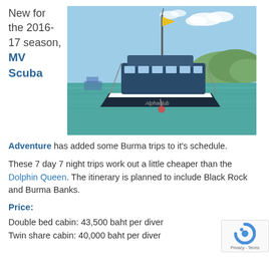New for the 2016-17 season, MV Scuba
[Figure (photo): A blue dive boat (MV Scuba Adventure) moored in a bay with green hills in the background under a partly cloudy sky.]
Adventure has added some Burma trips to it's schedule.
These 7 day 7 night trips work out a little cheaper than the Dolphin Queen. The itinerary is planned to include Black Rock and Burma Banks.
Price:
Double bed cabin: 43,500 baht per diver
Twin share cabin: 40,000 baht per diver